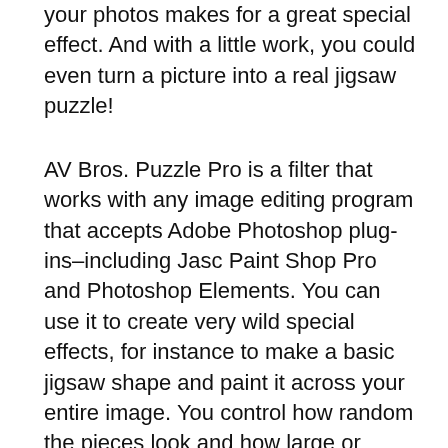your photos makes for a great special effect. And with a little work, you could even turn a picture into a real jigsaw puzzle!
AV Bros. Puzzle Pro is a filter that works with any image editing program that accepts Adobe Photoshop plug-ins–including Jasc Paint Shop Pro and Photoshop Elements. You can use it to create very wild special effects, for instance to make a basic jigsaw shape and paint it across your entire image. You control how random the pieces look and how large or small the pieces appear in your image. Puzzle Pro has some clever touches–like the ability to selectively remove puzzle pieces from the image, which adds up to some real creative possibilities. If you like, for instance, you can save a single puzzle piece, or a mishmash of pieces, like this picture.